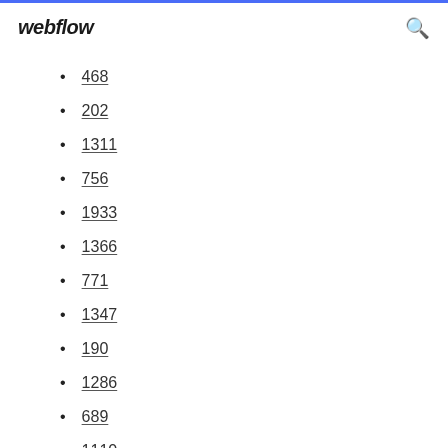webflow
468
202
1311
756
1933
1366
771
1347
190
1286
689
1110